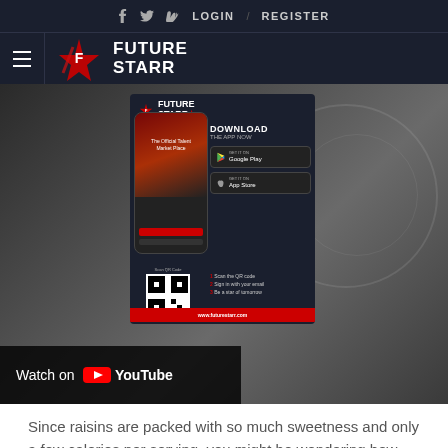f  Twitter  v  LOGIN  /  REGISTER
[Figure (logo): FutureStarr logo with hamburger menu and star icon]
[Figure (screenshot): YouTube video thumbnail with FutureStarr app download overlay card showing DOWNLOAD THE APP NOW with Google Play and App Store buttons, QR code, and www.futurestarr.com]
Since raisins are packed with so much sweetness and only a few calories per serving, you might be wondering how many whole raisins you can eat in one sitting.